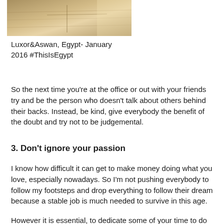[Figure (photo): Partial view of a wooden board or surface with lines/markings, outdoor scene possibly at Luxor or Aswan, Egypt]
Luxor&Aswan, Egypt- January 2016 #ThisIsEgypt
So the next time you're at the office or out with your friends try and be the person who doesn't talk about others behind their backs. Instead, be kind, give everybody the benefit of the doubt and try not to be judgemental.
3. Don't ignore your passion
I know how difficult it can get to make money doing what you love, especially nowadays. So I'm not pushing everybody to follow my footsteps and drop everything to follow their dream because a stable job is much needed to survive in this age.
However it is essential, to dedicate some of your time to do